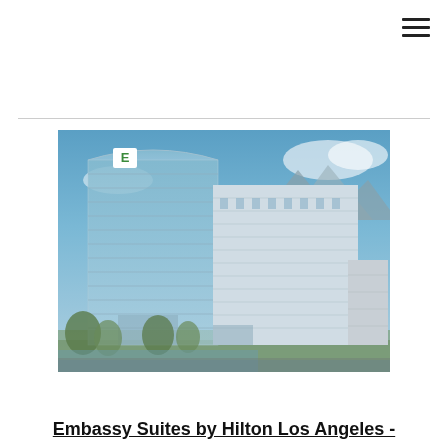[Figure (other): Hamburger menu icon (three horizontal lines) in the top-right corner]
[Figure (photo): Exterior photo of a tall modern hotel building with glass facade and Embassy Suites 'E' logo at the top, set against a blue sky with mountains in the background]
Embassy Suites by Hilton Los Angeles  -